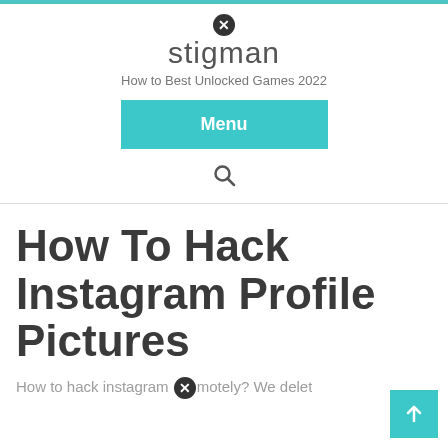stigman — How to Best Unlocked Games 2022
How To Hack Instagram Profile Pictures
How to hack instagram remotely? We delet…